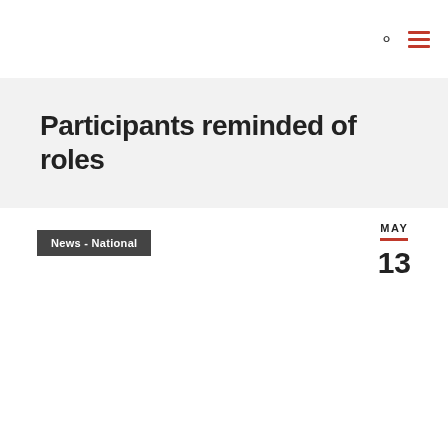Participants reminded of roles
News - National
MAY 13